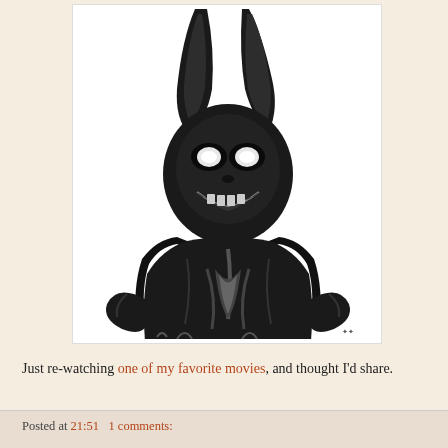[Figure (illustration): Black and white digital illustration of Frank the Bunny from Donnie Darko — a disturbing humanoid figure in a dark bunny costume with glowing white eyes, a sinister grinning mask, and large curved ears, standing against a white background.]
Just re-watching one of my favorite movies, and thought I'd share.
Posted at 21:51   1 comments: